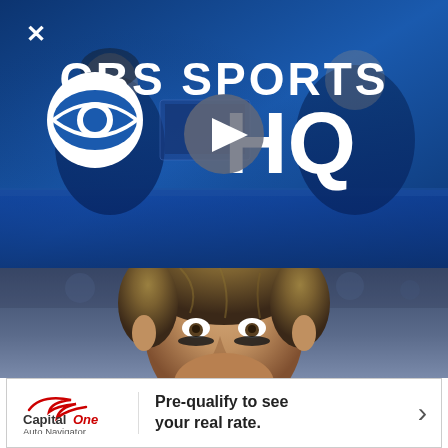[Figure (screenshot): CBS Sports HQ video thumbnail with blue studio background showing two people at a desk, CBS Sports HQ logo in white text, and a gray play button overlay in the center]
[Figure (photo): Close-up photo of a male NFL football player (Tom Brady) smiling, wearing eye black under his eyes, with brown hair, against a blurred stadium background]
[Figure (infographic): Capital One Auto Navigator advertisement banner: logo on left, text 'Pre-qualify to see your real rate.' in center, right arrow on right]